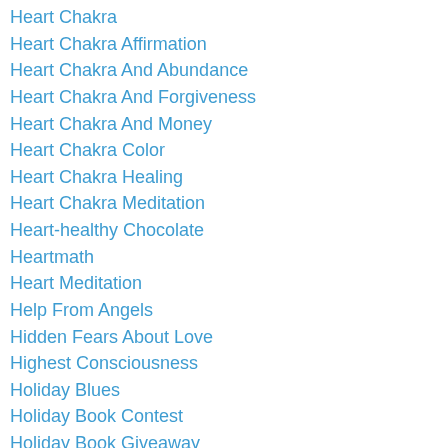Heart Chakra
Heart Chakra Affirmation
Heart Chakra And Abundance
Heart Chakra And Forgiveness
Heart Chakra And Money
Heart Chakra Color
Heart Chakra Healing
Heart Chakra Meditation
Heart-healthy Chocolate
Heartmath
Heart Meditation
Help From Angels
Hidden Fears About Love
Highest Consciousness
Holiday Blues
Holiday Book Contest
Holiday Book Giveaway
Holiday Gift
Holiday Gifts For Yogis
Holiday Giveaway
Holidays